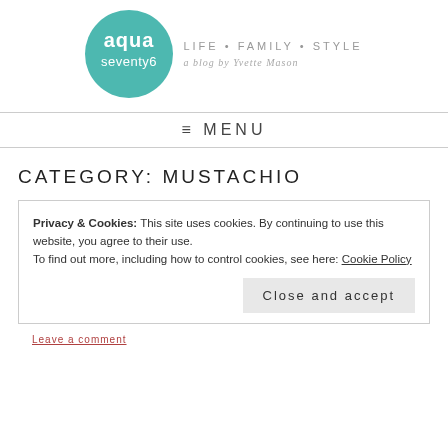[Figure (logo): Aqua Seventy6 blog logo: teal circle with 'aqua seventy6' text, tagline 'LIFE • FAMILY • STYLE', and script 'a blog by Yvette Mason']
≡ MENU
CATEGORY: MUSTACHIO
Privacy & Cookies: This site uses cookies. By continuing to use this website, you agree to their use.
To find out more, including how to control cookies, see here: Cookie Policy
Close and accept
Leave a comment